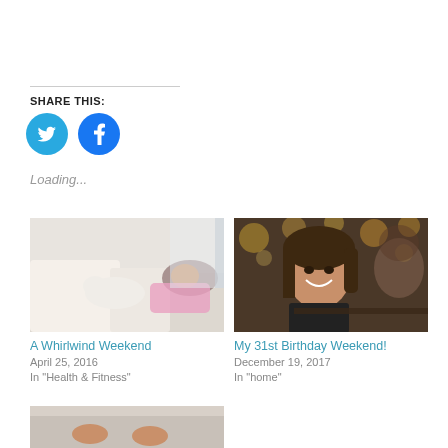SHARE THIS:
[Figure (illustration): Twitter and Facebook share buttons (blue circles with icons)]
Loading...
[Figure (photo): Person lying on a couch with a white dog/cat, bedroom setting]
A Whirlwind Weekend
April 25, 2016
In "Health & Fitness"
[Figure (photo): Woman smiling at a restaurant or bar with lights in background]
My 31st Birthday Weekend!
December 19, 2017
In "home"
[Figure (photo): Partial photo at bottom, appears to show feet or legs]